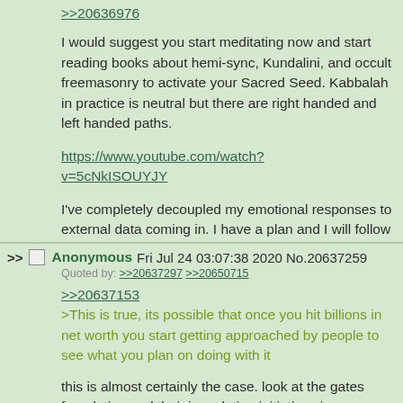>>20636976
I would suggest you start meditating now and start reading books about hemi-sync, Kundalini, and occult freemasonry to activate your Sacred Seed. Kabbalah in practice is neutral but there are right handed and left handed paths.
https://www.youtube.com/watch?v=5cNkISOUYJY
I've completely decoupled my emotional responses to external data coming in. I have a plan and I will follow it.
Anonymous Fri Jul 24 03:07:38 2020 No.20637259
Quoted by: >>20637297 >>20650715
>>20637153
>This is true, its possible that once you hit billions in net worth you start getting approached by people to see what you plan on doing with it
this is almost certainly the case. look at the gates foundation and their inoculation initiatives in